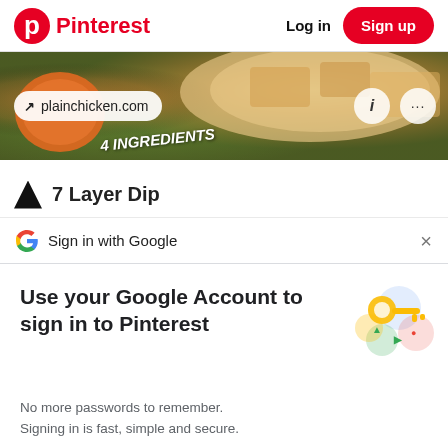Pinterest  Log in  Sign up
[Figure (screenshot): Food image showing a dish with orange and green colors, plainchicken.com pill link overlay, info and menu icons, and '4 INGREDIENTS' text on a board]
7 Layer Dip
Sign in with Google
Use your Google Account to sign in to Pinterest
No more passwords to remember.
Signing in is fast, simple and secure.
Continue
[Figure (illustration): Key illustration for Google sign-in panel]